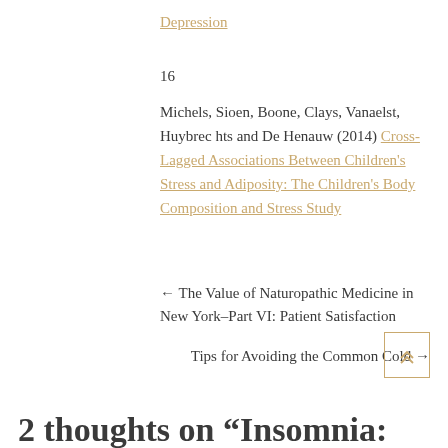Depression
16
Michels, Sioen, Boone, Clays, Vanaelst, Huybrec hts and De Henauw (2014) Cross-Lagged Associations Between Children's Stress and Adiposity: The Children's Body Composition and Stress Study
← The Value of Naturopathic Medicine in New York–Part VI: Patient Satisfaction
Tips for Avoiding the Common Cold →
2 thoughts on “Insomnia: